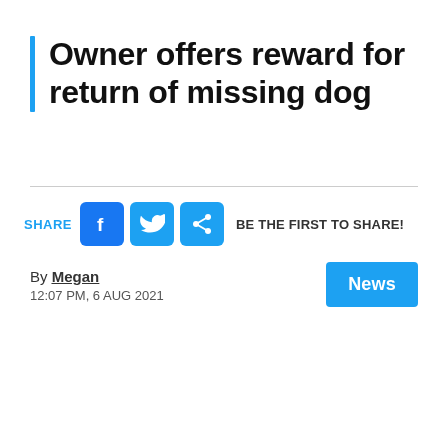Owner offers reward for return of missing dog
SHARE  BE THE FIRST TO SHARE!
By Megan
12:07 PM, 6 AUG 2021
News